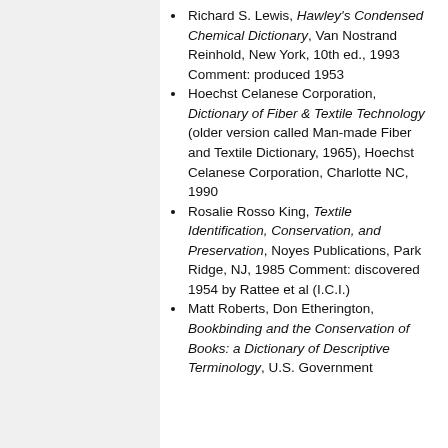Richard S. Lewis, Hawley's Condensed Chemical Dictionary, Van Nostrand Reinhold, New York, 10th ed., 1993 Comment: produced 1953
Hoechst Celanese Corporation, Dictionary of Fiber & Textile Technology (older version called Man-made Fiber and Textile Dictionary, 1965), Hoechst Celanese Corporation, Charlotte NC, 1990
Rosalie Rosso King, Textile Identification, Conservation, and Preservation, Noyes Publications, Park Ridge, NJ, 1985 Comment: discovered 1954 by Rattee et al (I.C.I.)
Matt Roberts, Don Etherington, Bookbinding and the Conservation of Books: a Dictionary of Descriptive Terminology, U.S. Government